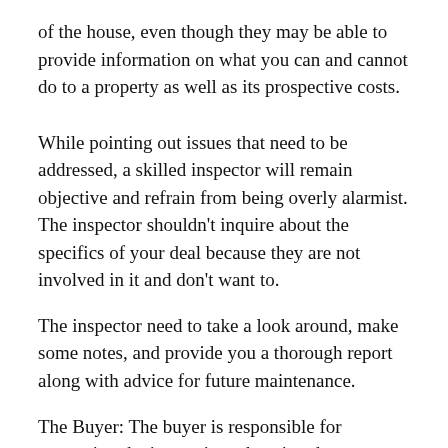of the house, even though they may be able to provide information on what you can and cannot do to a property as well as its prospective costs.
While pointing out issues that need to be addressed, a skilled inspector will remain objective and refrain from being overly alarmist. The inspector shouldn’t inquire about the specifics of your deal because they are not involved in it and don’t want to.
The inspector need to take a look around, make some notes, and provide you a thorough report along with advice for future maintenance.
The Buyer: The buyer is responsible for requesting the inspection, choosing the inspector, and attending the inspection. The buyer should also review the inspector’s